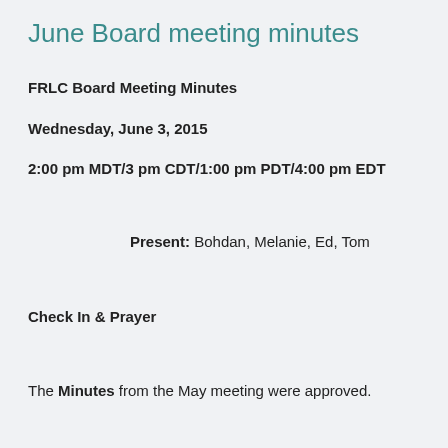June Board meeting minutes
FRLC Board Meeting Minutes
Wednesday, June 3, 2015
2:00 pm MDT/3 pm CDT/1:00 pm PDT/4:00 pm EDT
Present: Bohdan, Melanie, Ed, Tom
Check In & Prayer
The Minutes from the May meeting were approved.